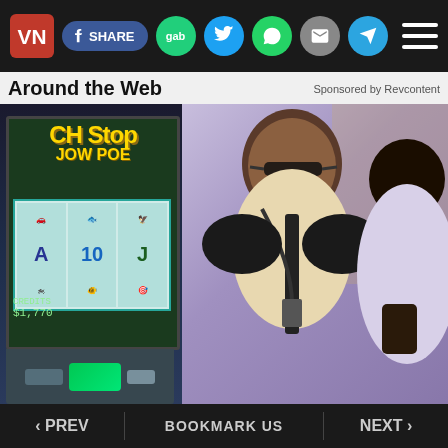VN | SHARE | gab | (twitter) | (whatsapp) | (email) | (telegram) | (menu)
Around the Web   Sponsored by Revcontent
[Figure (photo): Video screenshot of a casino scene with slot machines on the left showing 'Rich Stop Jackpot' game with reels visible, and casino staff/security personnel standing in front on the right side of the image.]
3 Steps to Tell a Slot Might Be Close to Hitting the Jackpot
‹ PREV   BOOKMARK US   NEXT ›